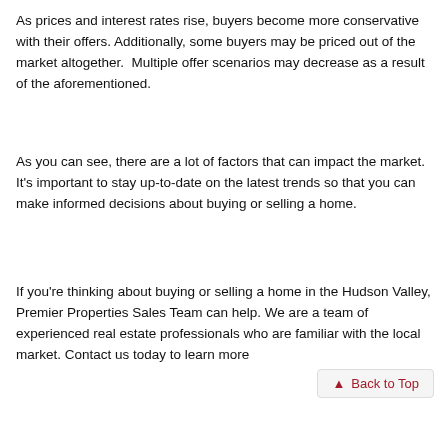As prices and interest rates rise, buyers become more conservative with their offers. Additionally, some buyers may be priced out of the market altogether.  Multiple offer scenarios may decrease as a result of the aforementioned.
As you can see, there are a lot of factors that can impact the market. It's important to stay up-to-date on the latest trends so that you can make informed decisions about buying or selling a home.
If you're thinking about buying or selling a home in the Hudson Valley, Premier Properties Sales Team can help. We are a team of experienced real estate professionals who are familiar with the local market. Contact us today to learn more